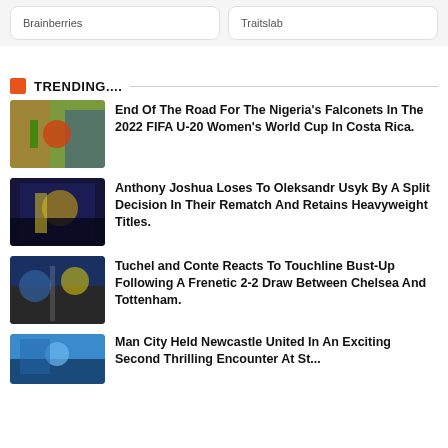Brainberries
Traitslab
TRENDING....
End Of The Road For The Nigeria's Falconets In The 2022 FIFA U-20 Women's World Cup In Costa Rica.
Anthony Joshua Loses To Oleksandr Usyk By A Split Decision In Their Rematch And Retains Heavyweight Titles.
Tuchel and Conte Reacts To Touchline Bust-Up Following A Frenetic 2-2 Draw Between Chelsea And Tottenham.
Man City Held Newcastle United In An Exciting Second Thrilling Encounter At St...